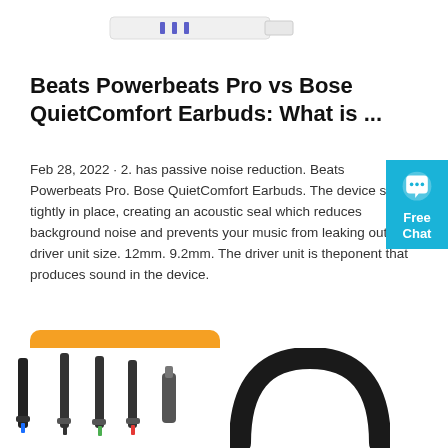[Figure (illustration): Partial top view of a small white USB dongle or adapter with blue/purple stripes]
Beats Powerbeats Pro vs Bose QuietComfort Earbuds: What is ...
Feb 28, 2022 · 2. has passive noise reduction. Beats Powerbeats Pro. Bose QuietComfort Earbuds. The device sits tightly in place, creating an acoustic seal which reduces background noise and prevents your music from leaking out. 3. driver unit size. 12mm. 9.2mm. The driver unit is theponent that produces sound in the device.
[Figure (illustration): Orange rounded rectangle button labeled Get Price]
[Figure (illustration): Blue chat widget on right side with speech bubble icon, Free Chat text]
[Figure (illustration): Bottom portion showing audio cables/connectors on left and black headphone arc on right]